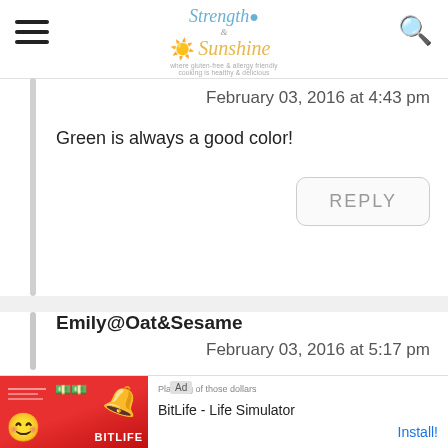Strength & Sunshine
February 03, 2016 at 4:43 pm
Green is always a good color!
REPLY
Emily@Oat&Sesame
February 03, 2016 at 5:17 pm
[Figure (screenshot): Ad banner for BitLife - Life Simulator app with Install button]